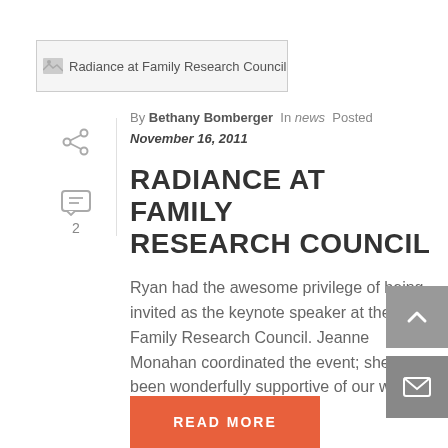[Figure (photo): Broken image placeholder: 'Radiance at Family Research Council']
By Bethany Bomberger In news Posted November 16, 2011
RADIANCE AT FAMILY RESEARCH COUNCIL
Ryan had the awesome privilege of being invited as the keynote speaker at the Family Research Council. Jeanne Monahan coordinated the event; she's been wonderfully supportive of our work at [...]
READ MORE